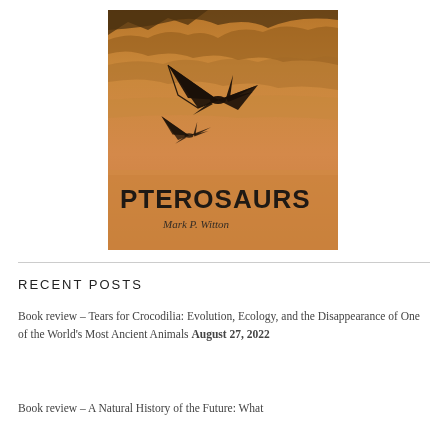[Figure (illustration): Book cover of 'Pterosaurs' by Mark P. Witton. Orange-toned sky with clouds, featuring a pterosaur silhouette in flight. Large text 'PTEROSAURS' at bottom with author name 'Mark P. Witton' below.]
RECENT POSTS
Book review – Tears for Crocodilia: Evolution, Ecology, and the Disappearance of One of the World's Most Ancient Animals August 27, 2022
Book review – A Natural History of the Future: What